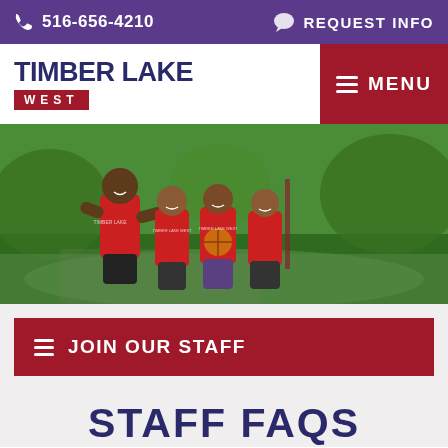516-656-4210   REQUEST INFO
[Figure (logo): Timber Lake West camp logo with blue text and red bar reading WEST]
[Figure (photo): Four boys in red Timber Lake West shirts on a basketball court, smiling with trees in background]
JOIN OUR STAFF
STAFF FAQS